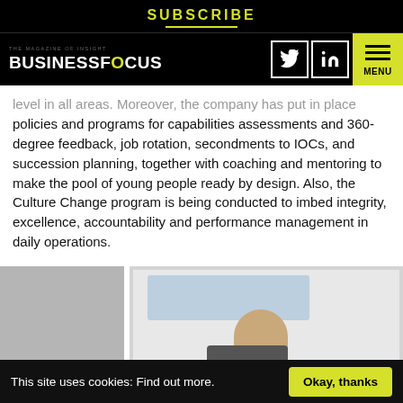SUBSCRIBE
THE MAGAZINE OF INSIGHT BUSINESSFOCUS — Twitter, LinkedIn, MENU
level in all areas. Moreover, the company has put in place policies and programs for capabilities assessments and 360-degree feedback, job rotation, secondments to IOCs, and succession planning, together with coaching and mentoring to make the pool of young people ready by design. Also, the Culture Change program is being conducted to imbed integrity, excellence, accountability and performance management in daily operations.
[Figure (photo): A person standing in front of a whiteboard with maps and diagrams]
This site uses cookies: Find out more.